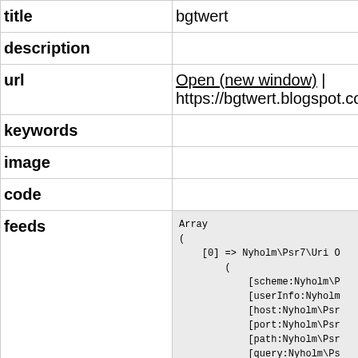| field | value |
| --- | --- |
| title | bgtwert |
| description |  |
| url | Open (new window) | https://bgtwert.blogspot.com |
| keywords |  |
| image |  |
| code |  |
| feeds | Array
(
    [0] => Nyholm\Psr7\Uri O
        (
            [scheme:Nyholm\P
            [userInfo:Nyholm
            [host:Nyholm\Psr
            [port:Nyholm\Psr
            [path:Nyholm\Psr
            [query:Nyholm\Ps
            [fragment:Nyhol |